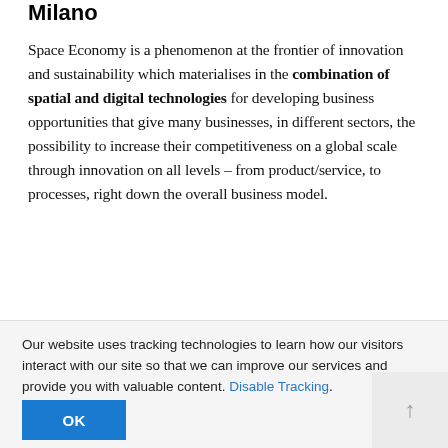Milano
Space Economy is a phenomenon at the frontier of innovation and sustainability which materialises in the combination of spatial and digital technologies for developing business opportunities that give many businesses, in different sectors, the possibility to increase their competitiveness on a global scale through innovation on all levels – from product/service, to processes, right down the overall business model.
The economic value generated by the combined use of
Our website uses tracking technologies to learn how our visitors interact with our site so that we can improve our services and provide you with valuable content. Disable Tracking.
OK